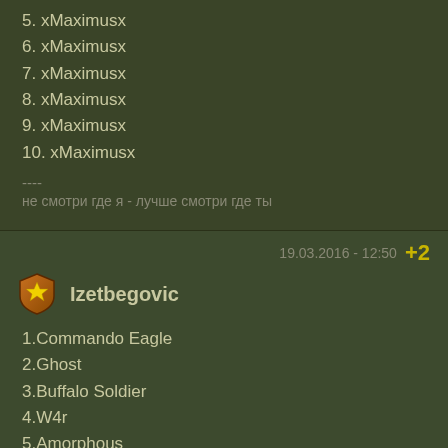5. xMaximusx
6. xMaximusx
7. xMaximusx
8. xMaximusx
9. xMaximusx
10. xMaximusx
----
не смотри где я - лучше смотри где ты
19.03.2016 - 12:50  +2
Izetbegovic
1.Commando Eagle
2.Ghost
3.Buffalo Soldier
4.W4r
5.Amorphous
6.Dragon
7.~Laochra
8.Sun Tzu